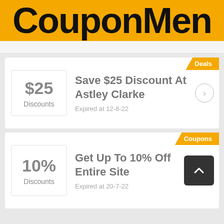CouponMen
Deals
$25 Discounts
Save $25 Discount At Astley Clarke
Expired at 12-8-22
Coupons
10% Discounts
Get Up To 10% Off Entire Site
Expired at 20-7-22